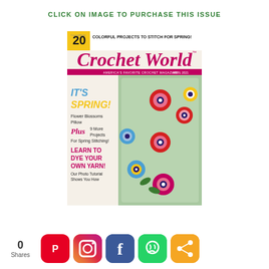CLICK ON IMAGE TO PURCHASE THIS ISSUE
[Figure (photo): Crochet World magazine cover, April 2021. Features a crochet flower blossoms pillow with colorful crocheted flowers on a mint/green background. Text on cover: '20 COLORFUL PROJECTS TO STITCH FOR SPRING!', 'Crochet World', 'AMERICA'S FAVORITE CROCHET MAGAZINE', 'APRIL 2021', 'IT'S SPRING!', 'Flower Blossoms Pillow', 'Plus 9 More Projects For Spring Stitching!', 'LEARN TO DYE YOUR OWN YARN!', 'Our Photo Tutorial Shows You How']
0 Shares
[Figure (infographic): Social share buttons: Pinterest (red), Instagram (gradient), Facebook (blue), WhatsApp (green), Share (orange)]